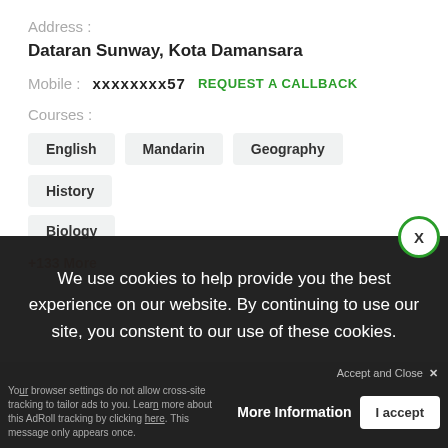Address :
Dataran Sunway, Kota Damansara
Mobile :   xxxxxxxx57   REQUEST A CALLBACK
Courses :
English
Mandarin
Geography
History
Biology
+133 More
We use cookies to help provide you the best experience on our website. By continuing to use our site, you constent to our use of these cookies.
Accept and Close ✕
Your browser settings do not allow cross-site tracking. Learn more. Enable AdRoll to use cross-site tracking to tailor ads to you. Learn about this AdRoll tracking by clicking here. This message only appears once.
More Information   I accept